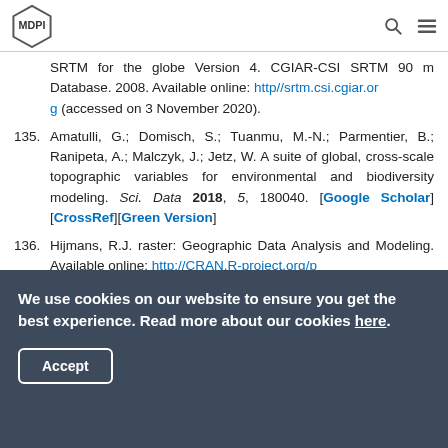MDPI
SRTM for the globe Version 4. CGIAR-CSI SRTM 90 m Database. 2008. Available online: http//srtm.csi.cgiar.org (accessed on 3 November 2020).
135. Amatulli, G.; Domisch, S.; Tuanmu, M.-N.; Parmentier, B.; Ranipeta, A.; Malczyk, J.; Jetz, W. A suite of global, cross-scale topographic variables for environmental and biodiversity modeling. Sci. Data 2018, 5, 180040. [Google Scholar] [CrossRef][Green Version]
136. Hijmans, R.J. raster: Geographic Data Analysis and Modeling. Available online: http://CRAN.R-project.org/package=raster (accessed on 1 January 2021).
We use cookies on our website to ensure you get the best experience. Read more about our cookies here.